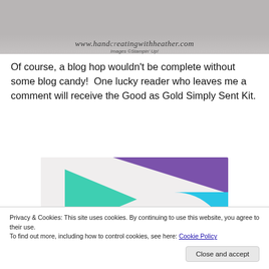[Figure (photo): Top portion of a blog post image showing a watermark-style website URL and image credit]
Of course, a blog hop wouldn't be complete without some blog candy!  One lucky reader who leaves me a comment will receive the Good as Gold Simply Sent Kit.
[Figure (infographic): Advertisement banner with colorful geometric shapes (purple triangle, green triangle, blue quarter-circle) on light background with bold text: 'How to start selling subscriptions online']
Privacy & Cookies: This site uses cookies. By continuing to use this website, you agree to their use.
To find out more, including how to control cookies, see here: Cookie Policy
Close and accept